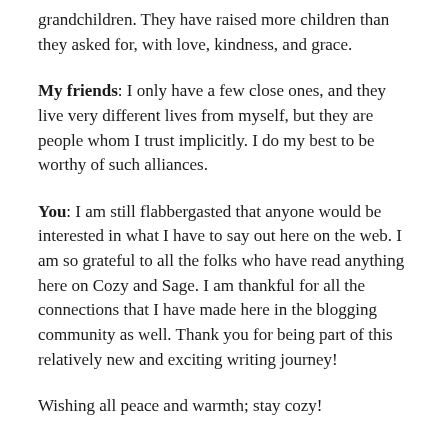grandchildren. They have raised more children than they asked for, with love, kindness, and grace.
My friends: I only have a few close ones, and they live very different lives from myself, but they are people whom I trust implicitly. I do my best to be worthy of such alliances.
You: I am still flabbergasted that anyone would be interested in what I have to say out here on the web. I am so grateful to all the folks who have read anything here on Cozy and Sage. I am thankful for all the connections that I have made here in the blogging community as well. Thank you for being part of this relatively new and exciting writing journey!
Wishing all peace and warmth; stay cozy!